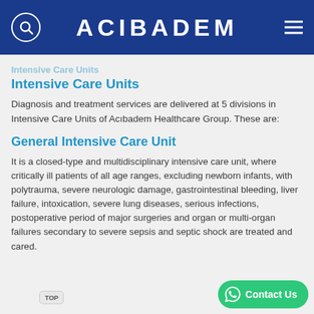ACIBADEM
Intensive Care Units
Diagnosis and treatment services are delivered at 5 divisions in Intensive Care Units of Acıbadem Healthcare Group. These are:
General Intensive Care Unit
It is a closed-type and multidisciplinary intensive care unit, where critically ill patients of all age ranges, excluding newborn infants, with polytrauma, severe neurologic damage, gastrointestinal bleeding, liver failure, intoxication, severe lung diseases, serious infections, postoperative period of major surgeries and organ or multi-organ failures secondary to severe sepsis and septic shock are treated and cared.